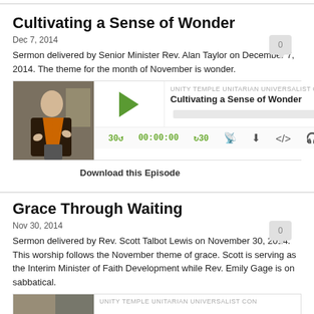Cultivating a Sense of Wonder
Dec 7, 2014
Sermon delivered by Senior Minister Rev. Alan Taylor on December 7, 2014. The theme for the month of November is wonder.
[Figure (screenshot): Podcast audio player showing episode 'Cultivating a Sense of Wonder' from Unity Temple Unitarian Universalist Congregation, with play button, timestamp 00:00:00, and playback controls]
Download this Episode
Grace Through Waiting
Nov 30, 2014
Sermon delivered by Rev. Scott Talbot Lewis on November 30, 2014. This worship follows the November theme of grace. Scott is serving as the Interim Minister of Faith Development while Rev. Emily Gage is on sabbatical.
[Figure (screenshot): Partial podcast audio player for second episode showing thumbnail and Unity Temple Unitarian Universalist congregation label]